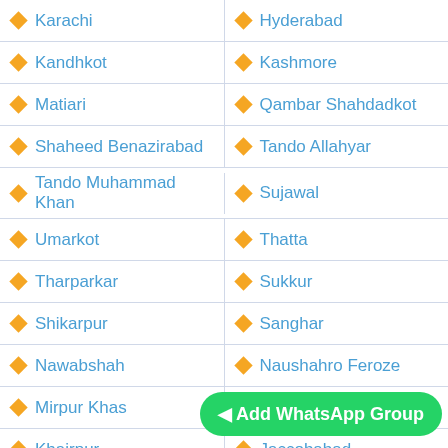Karachi
Hyderabad
Kandhkot
Kashmore
Matiari
Qambar Shahdadkot
Shaheed Benazirabad
Tando Allahyar
Tando Muhammad Khan
Sujawal
Umarkot
Thatta
Tharparkar
Sukkur
Shikarpur
Sanghar
Nawabshah
Naushahro Feroze
Mirpur Khas
Larkana
Khairpur
Jaccobabad
Ghotki
Dadu
Badin
Jamshoro
Karachi West
Malir